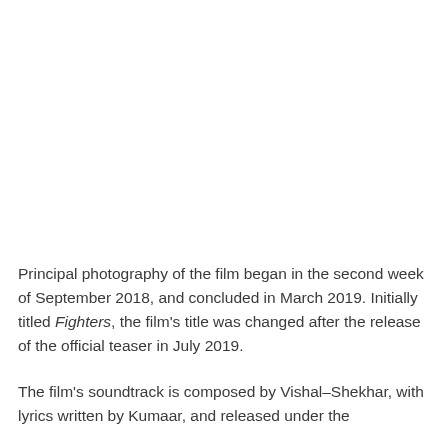Principal photography of the film began in the second week of September 2018, and concluded in March 2019. Initially titled Fighters, the film's title was changed after the release of the official teaser in July 2019.
The film's soundtrack is composed by Vishal–Shekhar, with lyrics written by Kumaar, and released under the